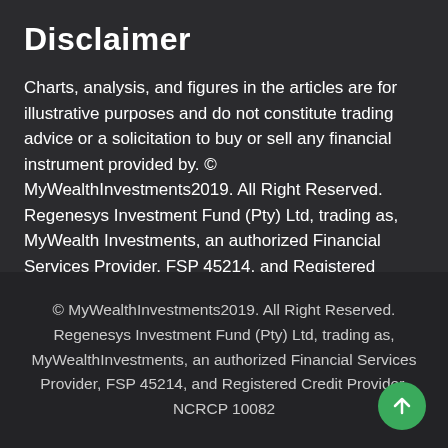Disclaimer
Charts, analysis, and figures in the articles are for illustrative purposes and do not constitute trading advice or a solicitation to buy or sell any financial instrument provided by. © MyWealthInvestments2019. All Right Reserved. Regenesys Investment Fund (Pty) Ltd, trading as, MyWealth Investments, an authorized Financial Services Provider, FSP 45214, and Registered Credit Provider, NCRCP 10082
© MyWealthInvestments2019. All Right Reserved. Regenesys Investment Fund (Pty) Ltd, trading as, MyWealthInvestments, an authorized Financial Services Provider, FSP 45214, and Registered Credit Provider, NCRCP 10082